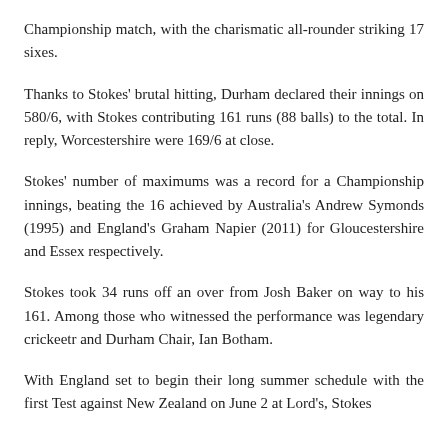Championship match, with the charismatic all-rounder striking 17 sixes.
Thanks to Stokes' brutal hitting, Durham declared their innings on 580/6, with Stokes contributing 161 runs (88 balls) to the total. In reply, Worcestershire were 169/6 at close.
Stokes' number of maximums was a record for a Championship innings, beating the 16 achieved by Australia's Andrew Symonds (1995) and England's Graham Napier (2011) for Gloucestershire and Essex respectively.
Stokes took 34 runs off an over from Josh Baker on way to his 161. Among those who witnessed the performance was legendary crickeetr and Durham Chair, Ian Botham.
With England set to begin their long summer schedule with the first Test against New Zealand on June 2 at Lord's, Stokes